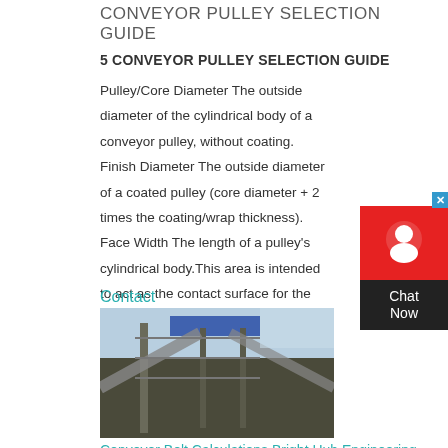CONVEYOR PULLEY SELECTION GUIDE
5 CONVEYOR PULLEY SELECTION GUIDE
Pulley/Core Diameter The outside diameter of the cylindrical body of a conveyor pulley, without coating. Finish Diameter The outside diameter of a coated pulley (core diameter + 2 times the coating/wrap thickness). Face Width The length of a pulley’s cylindrical body.This area is intended to act as the contact surface for the conveyor
Contact
[Figure (photo): Industrial conveyor belt system at a facility, with metal structures and blue roof visible]
Conveyor Belt Calculations Bright Hub Engineering